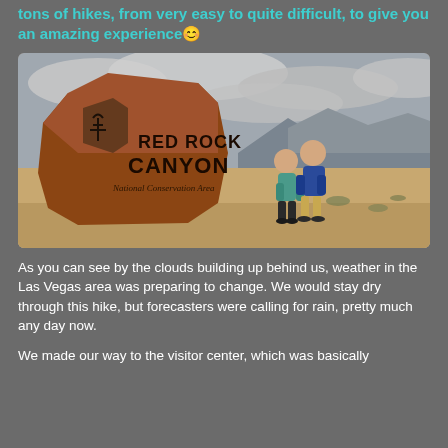tons of hikes, from very easy to quite difficult, to give you an amazing experience 😊
[Figure (photo): Two people standing in front of the Red Rock Canyon National Conservation Area sign, a large brown boulder with the text 'RED ROCK CANYON National Conservation Area' and a national park logo. Desert landscape with mountains in the background under cloudy grey skies.]
As you can see by the clouds building up behind us, weather in the Las Vegas area was preparing to change. We would stay dry through this hike, but forecasters were calling for rain, pretty much any day now.
We made our way to the visitor center, which was basically